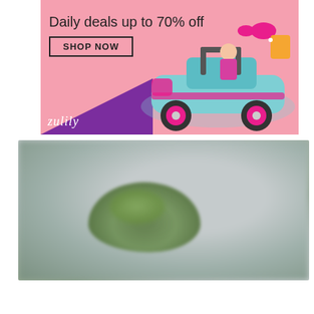[Figure (photo): Zulily advertisement banner with pink background showing a Barbie doll sitting in a light blue toy jeep with pink accents. Text reads 'Daily deals up to 70% off' with a 'SHOP NOW' button. Zulily logo in white on purple triangle in bottom left corner.]
[Figure (photo): Blurred photograph with gray and white tones showing a small green succulent or plant in the foreground against a soft gray blurred background.]